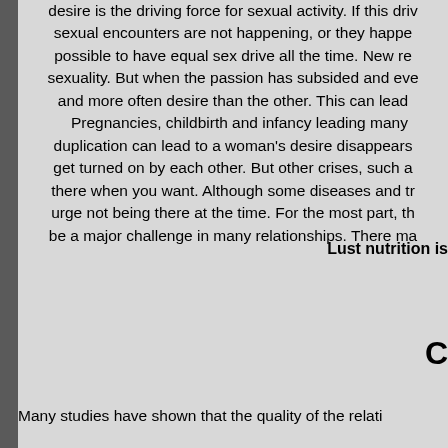desire is the driving force for sexual activity. If this drive stops working, sexual encounters are not happening, or they happen less. It is not possible to have equal sex drive all the time. New relationships revive sexuality. But when the passion has subsided and everyday life sets in and more often desire than the other. This can lead to conflicts. Pregnancies, childbirth and infancy leading many relationships. Role duplication can lead to a woman's desire disappears. Some couples get turned on by each other. But other crises, such as being unemployed, there when you want. Although some diseases and treatments affect the urge not being there at the time. For the most part, the desire can be a major challenge in many relationships. There ma
Lust nutrition is
C
Many studies have shown that the quality of the relati